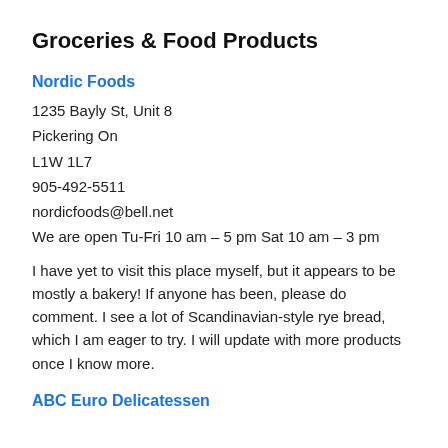Groceries & Food Products
Nordic Foods
1235 Bayly St, Unit 8
Pickering On
L1W 1L7
905-492-5511
nordicfoods@bell.net
We are open Tu-Fri 10 am – 5 pm Sat 10 am – 3 pm
I have yet to visit this place myself, but it appears to be mostly a bakery! If anyone has been, please do comment. I see a lot of Scandinavian-style rye bread, which I am eager to try. I will update with more products once I know more.
ABC Euro Delicatessen